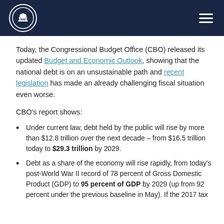Congressional Budget Office header with logo and navigation menu
Today, the Congressional Budget Office (CBO) released its updated Budget and Economic Outlook, showing that the national debt is on an unsustainable path and recent legislation has made an already challenging fiscal situation even worse.
CBO’s report shows:
Under current law, debt held by the public will rise by more than $12.8 trillion over the next decade – from $16.5 trillion today to $29.3 trillion by 2029.
Debt as a share of the economy will rise rapidly, from today’s post-World War II record of 78 percent of Gross Domestic Product (GDP) to 95 percent of GDP by 2029 (up from 92 percent under the previous baseline in May). If the 2017 tax